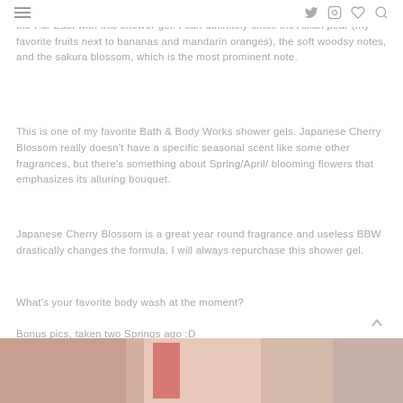idea what that smells like?!? Do you?). BBW truly captures the mysticism of the Far East with this shower gel. I can definitely smell the Asian pear (my favorite fruits next to bananas and mandarin oranges), the soft woodsy notes, and the sakura blossom, which is the most prominent note.
This is one of my favorite Bath & Body Works shower gels. Japanese Cherry Blossom really doesn't have a specific seasonal scent like some other fragrances, but there's something about Spring/April/ blooming flowers that emphasizes its alluring bouquet.
Japanese Cherry Blossom is a great year round fragrance and useless BBW drastically changes the formula, I will always repurchase this shower gel.
What's your favorite body wash at the moment?
Bonus pics, taken two Springs ago :D
[Figure (photo): Photo strip showing a person holding a Bath & Body Works product, partial view of hands and product packaging in pink/salmon tones]